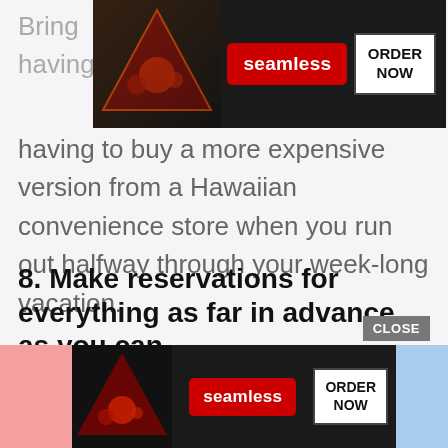[Figure (screenshot): Seamless food delivery advertisement banner at top of page, showing pizza slices, Seamless logo in red, and ORDER NOW button]
Bring having to buy a more expensive version from a Hawaiian convenience store when you run out halfway through your week-long vacation.
8. Make reservations for everything as far in advance as you can.
Oahu is busy all year round. The tropical climate means tourists never really stop coming. Popular restaurants,
[Figure (screenshot): Seamless food delivery advertisement banner at bottom of page, showing pizza slices, Seamless logo in red, ORDER NOW button, CLOSE button, with pink left side and blue right side]